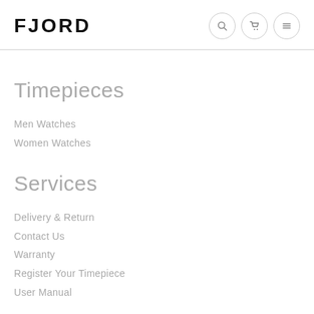FJORD
Timepieces
Men Watches
Women Watches
Services
Delivery & Return
Contact Us
Warranty
Register Your Timepiece
User Manual
Keep in Touch